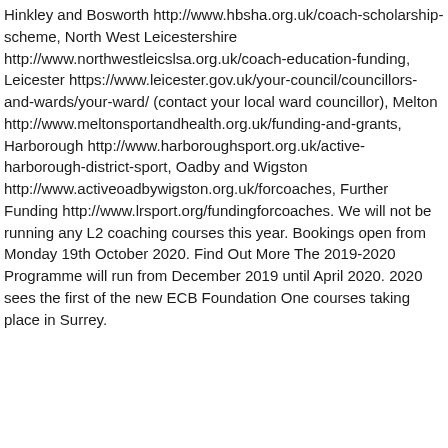Hinkley and Bosworth http://www.hbsha.org.uk/coach-scholarship-scheme, North West Leicestershire http://www.northwestleicslsa.org.uk/coach-education-funding, Leicester https://www.leicester.gov.uk/your-council/councillors-and-wards/your-ward/ (contact your local ward councillor), Melton http://www.meltonsportandhealth.org.uk/funding-and-grants, Harborough http://www.harboroughsport.org.uk/active-harborough-district-sport, Oadby and Wigston http://www.activeoadbywigston.org.uk/forcoaches, Further Funding http://www.lrsport.org/fundingforcoaches. We will not be running any L2 coaching courses this year. Bookings open from Monday 19th October 2020. Find Out More The 2019-2020 Programme will run from December 2019 until April 2020. 2020 sees the first of the new ECB Foundation One courses taking place in Surrey.